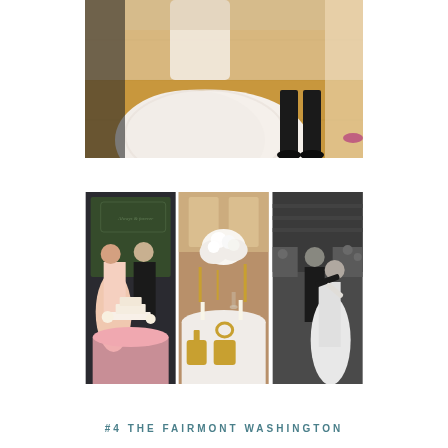[Figure (photo): Wedding photo showing bride in large white lace ball gown with groom in black suit on wooden floor, viewed from mid-level angle]
[Figure (photo): Three wedding reception photos: left shows bride and groom cutting cake with neon sign backdrop, center shows elegant table setting with white floral arrangements and gold chairs, right shows black and white photo of couple dancing]
#4 THE FAIRMONT WASHINGTON